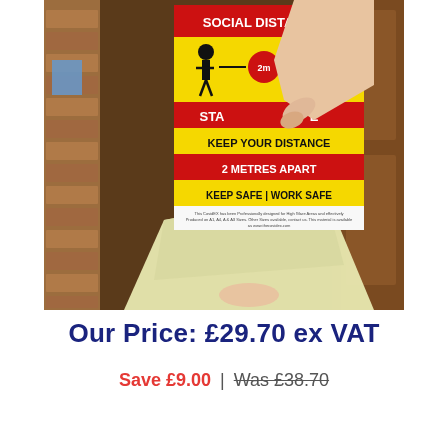[Figure (photo): A hand peeling back a laminated social distancing poster. The poster shows 'SOCIAL DISTANCING', silhouettes of two people 2m apart, 'STAY SAFE', 'KEEP YOUR DISTANCE', '2 METRES APART', 'KEEP SAFE | WORK SAFE'. The backing is being peeled away revealing a yellow/cream adhesive backing sheet. Background is a wooden door and brick wall.]
Our Price: £29.70 ex VAT
Save £9.00 | Was £38.70